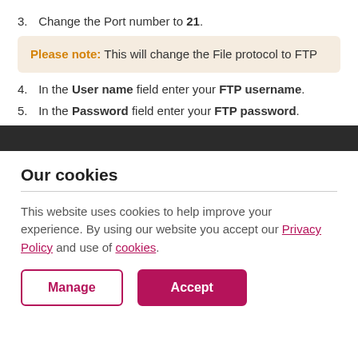3. Change the Port number to 21.
Please note: This will change the File protocol to FTP
4. In the User name field enter your FTP username.
5. In the Password field enter your FTP password.
Our cookies
This website uses cookies to help improve your experience. By using our website you accept our Privacy Policy and use of cookies.